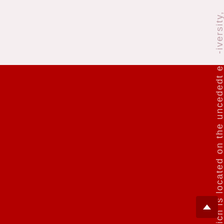[Figure (other): Page with two-tone background (light pinkish-grey on top, dark red on bottom) featuring vertically oriented text reading '-iversity, which is located on the uncededt e' running from top to bottom along the right side of the page, with a scroll-to-top button in the bottom right corner.]